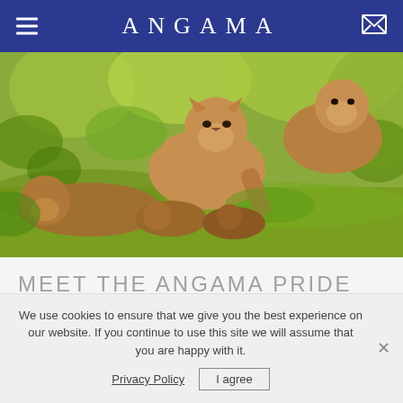ANGAMA
[Figure (photo): A group of lion cubs resting and playing on green grass amid leafy shrubs, with an adult lion visible in the background. Lush green vegetation surrounds the lions.]
MEET THE ANGAMA PRIDE
We use cookies to ensure that we give you the best experience on our website. If you continue to use this site we will assume that you are happy with it. Privacy Policy  I agree